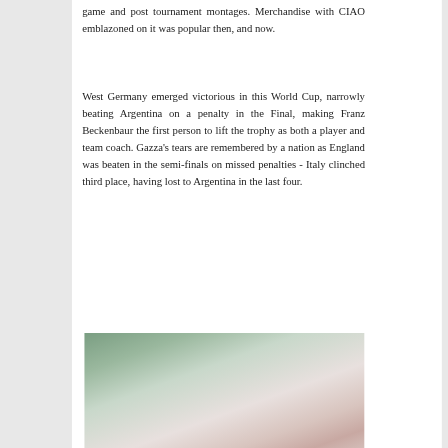game and post tournament montages. Merchandise with CIAO emblazoned on it was popular then, and now.
West Germany emerged victorious in this World Cup, narrowly beating Argentina on a penalty in the Final, making Franz Beckenbaur the first person to lift the trophy as both a player and team coach. Gazza's tears are remembered by a nation as England was beaten in the semi-finals on missed penalties - Italy clinched third place, having lost to Argentina in the last four.
[Figure (photo): A blurred/defocused photograph showing what appears to be a flag or banner with green, red/pink, and white colors, possibly related to Italian football or the 1990 World Cup.]